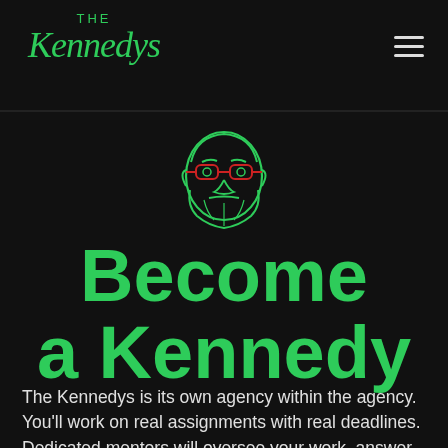THE Kennedys
[Figure (illustration): Line art illustration of a bearded man face with red glasses, drawn in green neon outline style]
Become a Kennedy
The Kennedys is its own agency within the agency. You'll work on real assignments with real deadlines. Dedicated mentors will oversee your work, answer questions, help